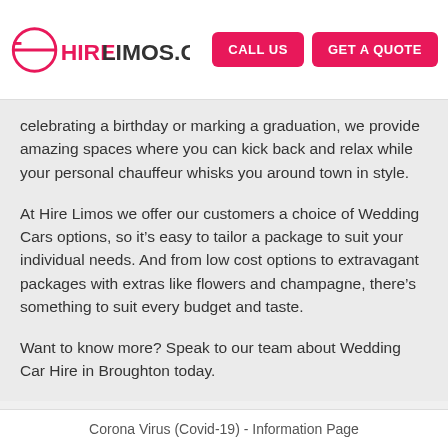HIRELIMOS.COM | CALL US | GET A QUOTE
celebrating a birthday or marking a graduation, we provide amazing spaces where you can kick back and relax while your personal chauffeur whisks you around town in style.
At Hire Limos we offer our customers a choice of Wedding Cars options, so it’s easy to tailor a package to suit your individual needs. And from low cost options to extravagant packages with extras like flowers and champagne, there’s something to suit every budget and taste.
Want to know more? Speak to our team about Wedding Car Hire in Broughton today.
Corona Virus (Covid-19) - Information Page